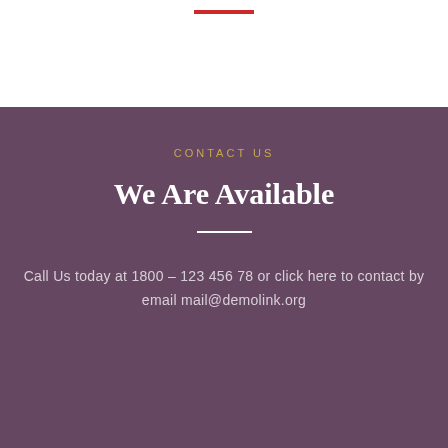[Figure (other): Red horizontal decorative line divider near top of page on white background]
CONTACT US
We Are Available
Call Us today at 1800 – 123 456 78 or click here to contact by email mail@demolink.org